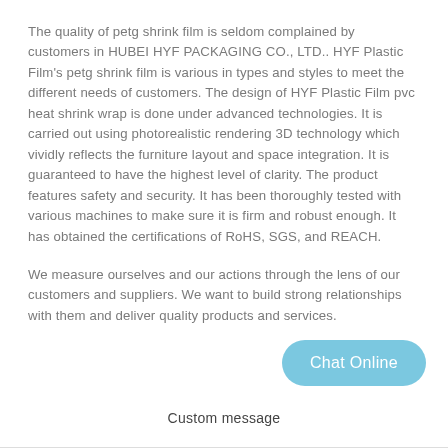The quality of petg shrink film is seldom complained by customers in HUBEI HYF PACKAGING CO., LTD.. HYF Plastic Film's petg shrink film is various in types and styles to meet the different needs of customers. The design of HYF Plastic Film pvc heat shrink wrap is done under advanced technologies. It is carried out using photorealistic rendering 3D technology which vividly reflects the furniture layout and space integration. It is guaranteed to have the highest level of clarity. The product features safety and security. It has been thoroughly tested with various machines to make sure it is firm and robust enough. It has obtained the certifications of RoHS, SGS, and REACH.
We measure ourselves and our actions through the lens of our customers and suppliers. We want to build strong relationships with them and deliver quality products and services.
Chat Online
Custom message